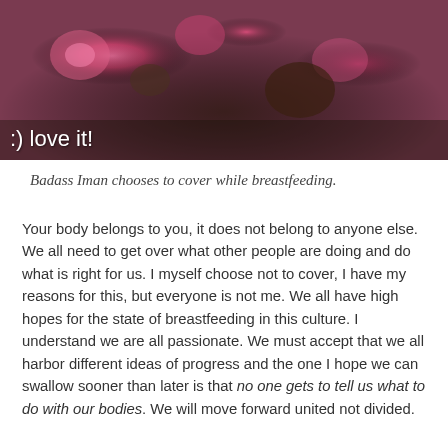[Figure (photo): A person breastfeeding covered with a floral patterned fabric in pink and dark tones. Text overlay reads ':) love it!']
Badass Iman chooses to cover while breastfeeding.
Your body belongs to you, it does not belong to anyone else. We all need to get over what other people are doing and do what is right for us. I myself choose not to cover, I have my reasons for this, but everyone is not me. We all have high hopes for the state of breastfeeding in this culture. I understand we are all passionate. We must accept that we all harbor different ideas of progress and the one I hope we can swallow sooner than later is that no one gets to tell us what to do with our bodies. We will move forward united not divided.